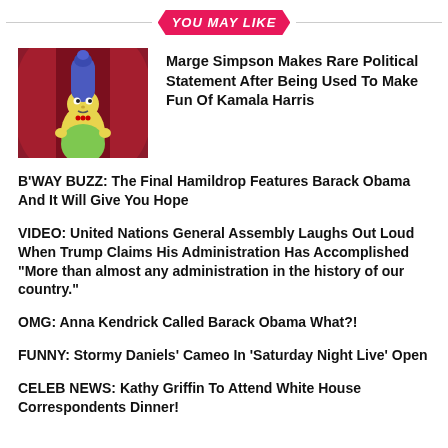YOU MAY LIKE
Marge Simpson Makes Rare Political Statement After Being Used To Make Fun Of Kamala Harris
B'WAY BUZZ: The Final Hamildrop Features Barack Obama And It Will Give You Hope
VIDEO: United Nations General Assembly Laughs Out Loud When Trump Claims His Administration Has Accomplished “More than almost any administration in the history of our country.”
OMG: Anna Kendrick Called Barack Obama What?!
FUNNY: Stormy Daniels’ Cameo In ‘Saturday Night Live’ Open
CELEB NEWS: Kathy Griffin To Attend White House Correspondents Dinner!